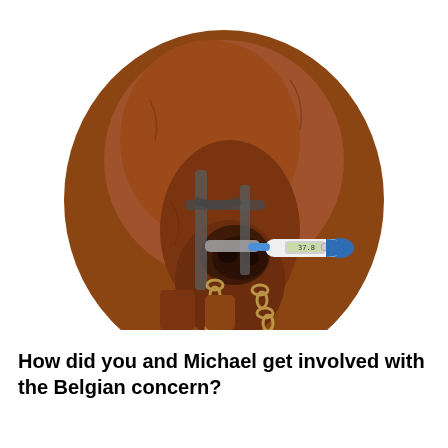[Figure (photo): A brown horse or cattle with a metal halter/harness and chains hanging from it, holding a digital thermometer in its mouth. The thermometer is white and blue with a small display screen. The animal is photographed against a white background.]
How did you and Michael get involved with the Belgian concern?